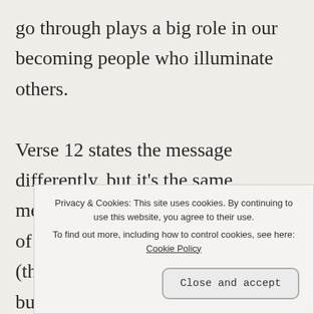go through plays a big role in our becoming people who illuminate others.

Verse 12 states the message differently, but it's the same message. For those called to a life of ministry, death is at work in us (that is, we go through adversity), but for those we m... l'... w...
Privacy & Cookies: This site uses cookies. By continuing to use this website, you agree to their use.
To find out more, including how to control cookies, see here: Cookie Policy
Close and accept